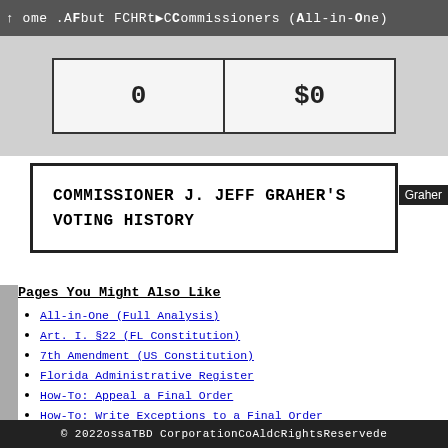Home . About FCHRt > Commissioners (All-in-One)
| 0 | $0 |
COMMISSIONER J. JEFF GRAHER'S VOTING HISTORY
Pages You Might Also Like
All-in-One (Full Analysis)
Art. I. §22 (FL Constitution)
7th Amendment (US Constitution)
Florida Administrative Register
How-To: Appeal a Final Order
How-To: Write Exceptions to a Final Order
Info: FCHR Bribery
Info: Suing for Constitutional Deprivations
Lookup Table: Abbreviations
© 2022ossaTBD CorporationCoAldcRightsReservede